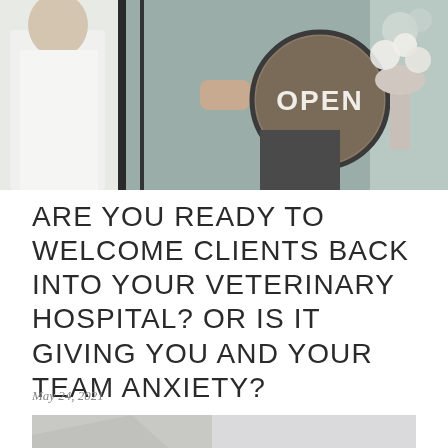[Figure (photo): Person holding a round wooden OPEN sign with speech-bubble shape, background shows a storefront or shop entrance with white frame and flowers]
ARE YOU READY TO WELCOME CLIENTS BACK INTO YOUR VETERINARY HOSPITAL? OR IS IT GIVING YOU AND YOUR TEAM ANXIETY?
May 24, 2021
[Figure (photo): Bottom portion of a second photo, showing a light gray surface, partially visible]